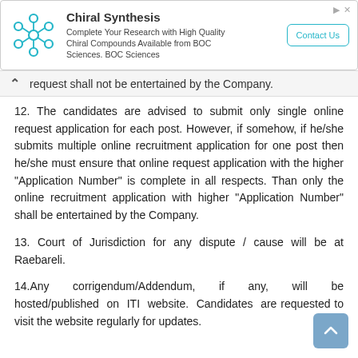[Figure (other): Advertisement banner for Chiral Synthesis by BOC Sciences, with molecular icon, title, description text, and Contact Us button.]
request shall not be entertained by the Company.
12. The candidates are advised to submit only single online request application for each post. However, if somehow, if he/she submits multiple online recruitment application for one post then he/she must ensure that online request application with the higher "Application Number" is complete in all respects. Than only the online recruitment application with higher "Application Number" shall be entertained by the Company.
13. Court of Jurisdiction for any dispute / cause will be at Raebareli.
14.Any corrigendum/Addendum, if any, will be hosted/published on ITI website. Candidates are requested to visit the website regularly for updates.